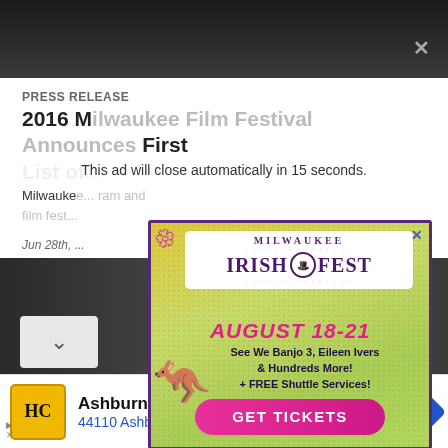[Figure (screenshot): Dark background top image area of a webpage]
This ad will close automatically in 15 seconds.
PRESS RELEASE
2016 Milwaukee Film Festival Announces First List of...
Milwaukee... ram and film fes...
Jun 28th, ...
[Figure (illustration): Milwaukee Irish Fest advertisement popup. Shows Milwaukee Irish Fest logo, dates August 18-21, performers We Banjo 3 and Eileen Ivers, free shuttle services, and GET TICKETS button. Features cartoon kangaroo/dragon character and dragonfly decoration. Colorful green/yellow speckled background with purple border.]
[Figure (photo): Outdoor photo strip at bottom, dark toned]
[Figure (logo): HC logo in yellow square, Ashburn business ad showing OPEN 8AM-7PM and address 44110 Ashburn Shopping Plaz...]